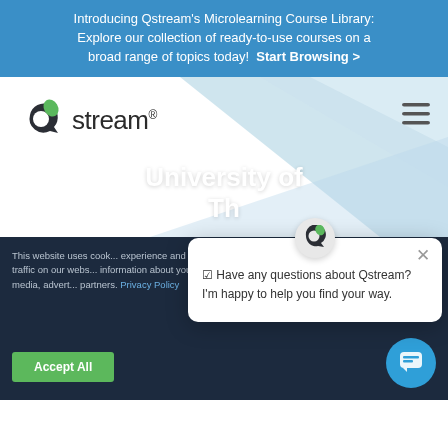Introducing Qstream's Microlearning Course Library: Explore our collection of ready-to-use courses on a broad range of topics today! Start Browsing >
[Figure (logo): Qstream logo with stylized Q icon in blue and green, followed by 'Qstream.' wordmark in dark gray]
[Figure (screenshot): Navigation area with diagonal light blue geometric background shapes and hamburger menu icon on the right]
University of Th...
This website uses cook... experience and to analy... and traffic on our webs... information about your ... our social media, advert... partners. Privacy Policy
[Figure (screenshot): Chat popup widget with Qstream icon at top, close (x) button, and message: Have any questions about Qstream? I'm happy to help you find your way.]
[Figure (screenshot): Blue circular chat button with chat icon at bottom right corner]
Accept All